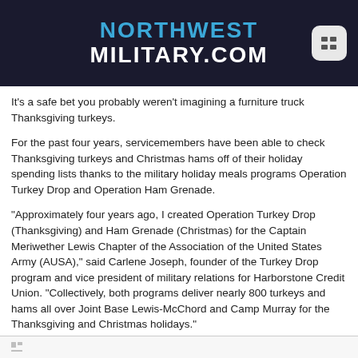NORTHWEST MILITARY.COM
It's a safe bet you probably weren't imagining a furniture truck Thanksgiving turkeys.
For the past four years, servicemembers have been able to check Thanksgiving turkeys and Christmas hams off of their holiday spending lists thanks to the military holiday meals programs Operation Turkey Drop and Operation Ham Grenade.
"Approximately four years ago, I created Operation Turkey Drop (Thanksgiving) and Ham Grenade (Christmas) for the Captain Meriwether Lewis Chapter of the Association of the United States Army (AUSA)," said Carlene Joseph, founder of the Turkey Drop program and vice president of military relations for Harborstone Credit Union. "Collectively, both programs deliver nearly 800 turkeys and hams all over Joint Base Lewis-McChord and Camp Murray for the Thanksgiving and Christmas holidays."